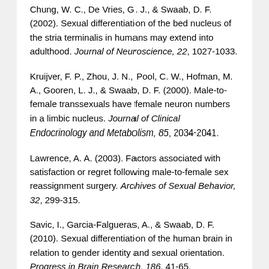Chung, W. C., De Vries, G. J., & Swaab, D. F. (2002). Sexual differentiation of the bed nucleus of the stria terminalis in humans may extend into adulthood. Journal of Neuroscience, 22, 1027-1033.
Kruijver, F. P., Zhou, J. N., Pool, C. W., Hofman, M. A., Gooren, L. J., & Swaab, D. F. (2000). Male-to-female transsexuals have female neuron numbers in a limbic nucleus. Journal of Clinical Endocrinology and Metabolism, 85, 2034-2041.
Lawrence, A. A. (2003). Factors associated with satisfaction or regret following male-to-female sex reassignment surgery. Archives of Sexual Behavior, 32, 299-315.
Savic, I., Garcia-Falgueras, A., & Swaab, D. F. (2010). Sexual differentiation of the human brain in relation to gender identity and sexual orientation. Progress in Brain Research, 186, 41-65.
Swaab, D. F. (2007). Sexual differentiation of the brain